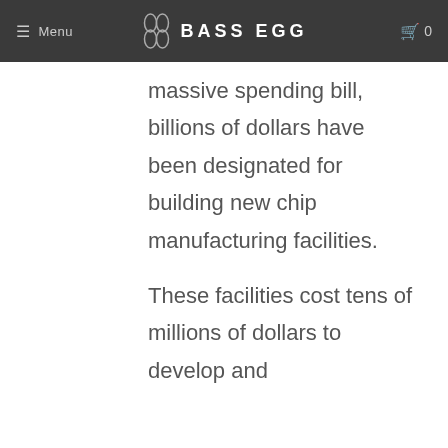Menu | BASS EGG | 0
massive spending bill, billions of dollars have been designated for building new chip manufacturing facilities.

These facilities cost tens of millions of dollars to develop and